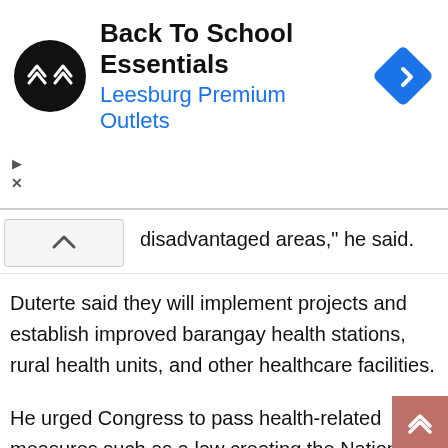[Figure (infographic): Advertisement banner for Back To School Essentials at Leesburg Premium Outlets, showing a circular black logo with double arrows, the ad title, subtitle in blue, and a blue diamond navigation icon. Small play and close control buttons on the left side.]
disadvantaged areas," he said.
Duterte said they will implement projects and establish improved barangay health stations, rural health units, and other healthcare facilities.
He urged Congress to pass health-related measures such as a law creating the National Disease Prevention and Management Authority to better prepare for future pandemics and the Advanced Nursing Education Act to improve nursing education and working conditions for nurses.